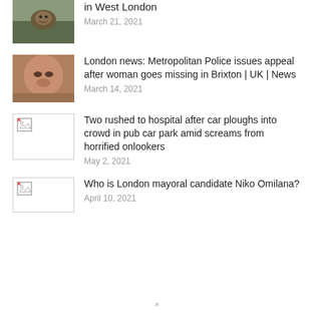[Figure (photo): Animal (squirrel-like) photo thumbnail, partially visible at top]
in West London
March 21, 2021
[Figure (photo): Close-up photo of a woman's face]
London news: Metropolitan Police issues appeal after woman goes missing in Brixton | UK | News
March 14, 2021
[Figure (photo): Broken image placeholder icon]
Two rushed to hospital after car ploughs into crowd in pub car park amid screams from horrified onlookers
May 2, 2021
[Figure (photo): Broken image placeholder icon]
Who is London mayoral candidate Niko Omilana?
April 10, 2021
×